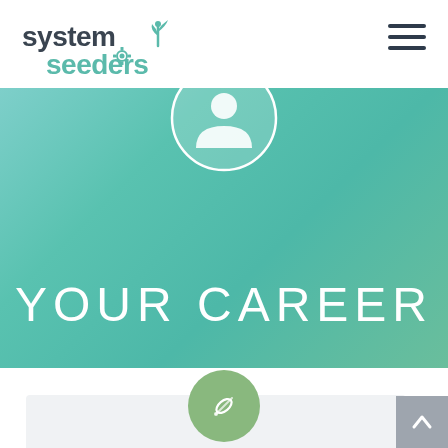[Figure (logo): System Seeders logo with plant sprout icon]
[Figure (infographic): Hamburger menu icon (three horizontal lines)]
[Figure (infographic): Hero banner with teal gradient background, circular avatar/person icon at top center, and large white text YOUR CAREER]
YOUR CAREER
[Figure (infographic): Green circular button with pencil/edit icon, positioned at the top of a light gray card section at the bottom of the page]
[Figure (infographic): Gray scroll-to-top button with upward arrow in bottom right corner]